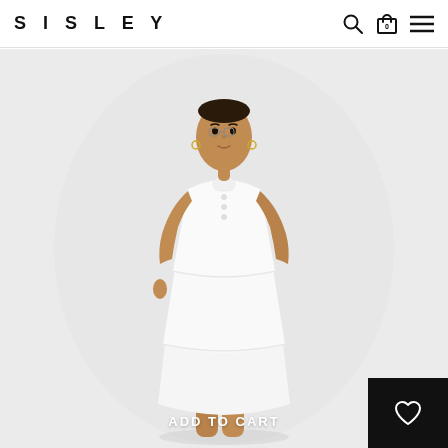SISLEY
[Figure (photo): A model wearing a white sleeveless tiered mini dress with a band collar and button placket, standing against a light grey background. The dress features a peplum/tier design with two horizontal seam lines creating three tiers.]
ADD TO CART